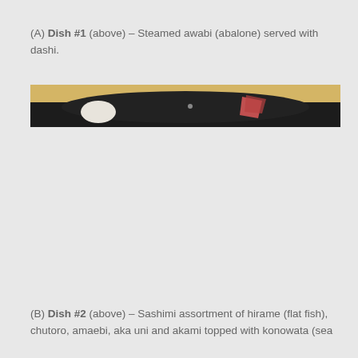(A) Dish #1 (above) – Steamed awabi (abalone) served with dashi.
[Figure (photo): Partially visible photo of a black plate on a light wood surface, with a white-gloved hand and a piece of red/pink food visible at the edges.]
(B) Dish #2 (above) – Sashimi assortment of hirame (flat fish), chutoro, amaebi, aka uni and akami topped with konowata (sea